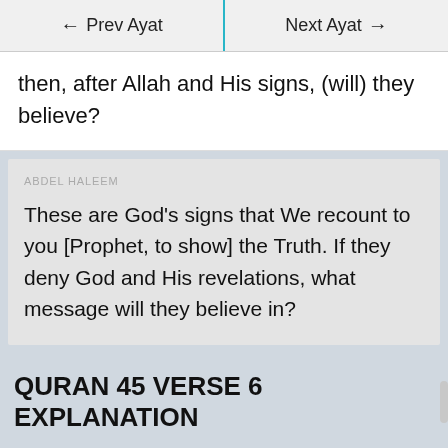← Prev Ayat | Next Ayat →
then, after Allah and His signs, (will) they believe?
ABDEL HALEEM
These are God's signs that We recount to you [Prophet, to show] the Truth. If they deny God and His revelations, what message will they believe in?
QURAN 45 VERSE 6 EXPLANATION
For those looking for commentary to help with the understanding of Surah Jathiya